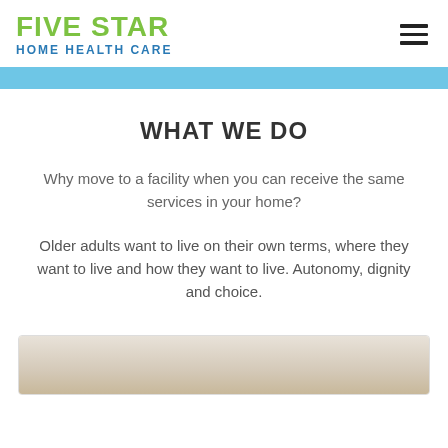FIVE STAR HOME HEALTH CARE
WHAT WE DO
Why move to a facility when you can receive the same services in your home?
Older adults want to live on their own terms, where they want to live and how they want to live. Autonomy, dignity and choice.
[Figure (photo): Partial photo at bottom of page, appears to show a home health care scene]